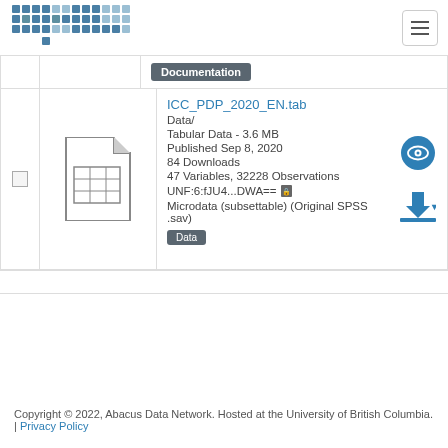[Figure (logo): Abacus logo with stylized grid of squares forming letters]
|  |  | Documentation |
| --- | --- | --- |
|  | [file icon] | ICC_PDP_2020_EN.tab
Data/
Tabular Data - 3.6 MB
Published Sep 8, 2020
84 Downloads
47 Variables, 32228 Observations
UNF:6:fJU4...DWA==
Microdata (subsettable) (Original SPSS .sav)
[Data badge] |
Copyright © 2022, Abacus Data Network. Hosted at the University of British Columbia. | Privacy Policy